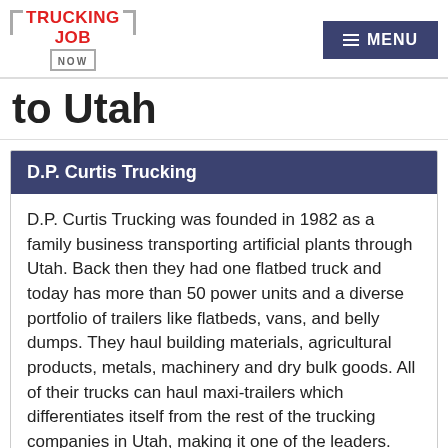TRUCKING JOB NOW | MENU
to Utah
D.P. Curtis Trucking
D.P. Curtis Trucking was founded in 1982 as a family business transporting artificial plants through Utah. Back then they had one flatbed truck and today has more than 50 power units and a diverse portfolio of trailers like flatbeds, vans, and belly dumps. They haul building materials, agricultural products, metals, machinery and dry bulk goods. All of their trucks can haul maxi-trailers which differentiates itself from the rest of the trucking companies in Utah, making it one of the leaders.